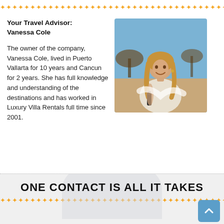[Figure (illustration): Decorative orange arrow/star border at top of page]
Your Travel Advisor:
Vanessa Cole
The owner of the company, Vanessa Cole, lived in Puerto Vallarta for 10 years and Cancun for 2 years. She has full knowledge and understanding of the destinations and has worked in Luxury Villa Rentals full time since 2001.
[Figure (photo): Photo of Vanessa Cole, a smiling woman holding a bottle on a beach with thatched umbrellas in the background]
One contact is all it takes
[Figure (illustration): Decorative orange arrow/star border at bottom of page]